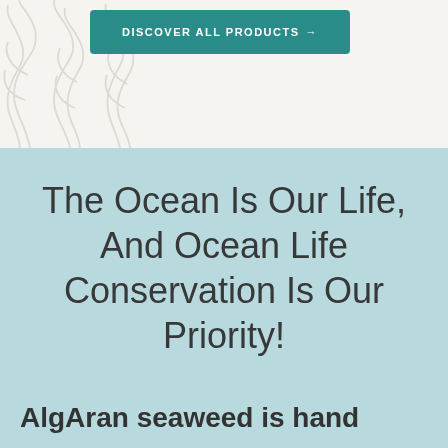[Figure (illustration): Decorative seaweed/coral outline illustration on white/cream background in top-left corner]
DISCOVER ALL PRODUCTS →
The Ocean Is Our Life, And Ocean Life Conservation Is Our Priority!
AlgAran seaweed is hand